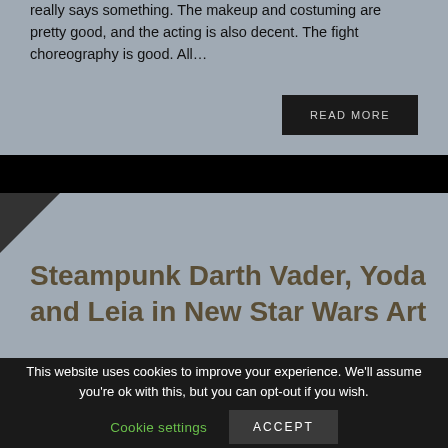really says something. The makeup and costuming are pretty good, and the acting is also decent. The fight choreography is good. All…
READ MORE
Steampunk Darth Vader, Yoda and Leia in New Star Wars Art
This website uses cookies to improve your experience. We'll assume you're ok with this, but you can opt-out if you wish.
Cookie settings
ACCEPT